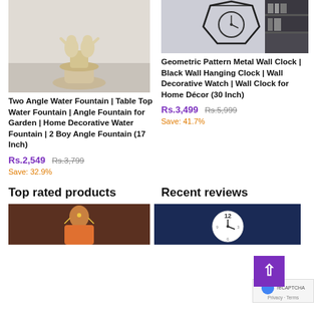[Figure (photo): Cream/ivory colored two angel water fountain with tiered basin, against light purple/grey background]
Two Angle Water Fountain | Table Top Water Fountain | Angle Fountain for Garden | Home Decorative Water Fountain | 2 Boy Angle Fountain (17 Inch)
Rs.2,549 Rs.3,799
Save: 32.9%
[Figure (photo): Geometric pattern black metal wall clock on grey/white wall, with bookshelf and dark sofa visible]
Geometric Pattern Metal Wall Clock | Black Wall Hanging Clock | Wall Decorative Watch | Wall Clock for Home Décor (30 Inch)
Rs.3,499 Rs.5,999
Save: 41.7%
Top rated products
Recent reviews
[Figure (photo): Woman in colorful traditional Indian attire, product image]
[Figure (photo): White decorative wall clock on blue background, showing number 12]